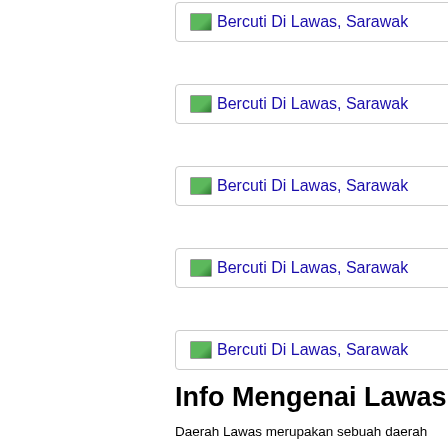[Figure (other): Image link placeholder with green icon and text 'Bercuti Di Lawas, Sarawak']
[Figure (other): Image link placeholder with green icon and text 'Bercuti Di Lawas, Sarawak']
[Figure (other): Image link placeholder with green icon and text 'Bercuti Di Lawas, Sarawak']
[Figure (other): Image link placeholder with green icon and text 'Bercuti Di Lawas, Sarawak']
[Figure (other): Image link placeholder with green icon and text 'Bercuti Di Lawas, Sarawak']
Info Mengenai Lawas
Daerah Lawas merupakan sebuah daerah yang terletak di Baha Negeri Sarawak. Kedudukan Daerah Lawas yang stragetik iaitu dengan Negeri Sabah dan Negara Brunei Darussalam serta Wil Labuan menjadikan Daerah Lawas sebagai tumpuan pelancon penduduk Brunei. Nama Lawas adalah satu perkataan Melayu c bererti sebuah kawasan yang luas dan lapang. Nama ini terdap iaitu Padang Lawas dan orang Melayu adalah yang terawal me menduduki lembah Sungai Lawas. Keadaan alam semulajadi y serta kehijauan floranya menjadikan Lawas daerah yang kaya d tanaman buah-buahan serta sayur-sayurannya. Masyarakat di l penduduk suku kaum Lunbawang, Kedayan, Melayu Brunei, Mu